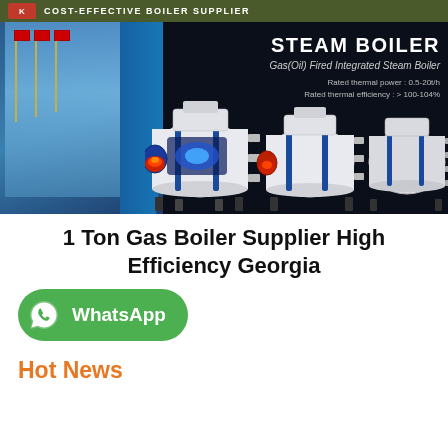COST-EFFECTIVE BOILER SUPPLIER
[Figure (photo): Steam boiler product banner showing industrial gas(oil) fired integrated steam boilers against a dark background with building on the left. Text overlay reads: STEAM BOILER, Gas(Oil) Fired Integrated Steam Boiler, Rated thermal power: 0.5-20t/h, Rated thermal efficiency: > 100-104%]
1 Ton Gas Boiler Supplier High Efficiency Georgia
[Figure (logo): WhatsApp button with green rounded rectangle background, WhatsApp phone icon on left, text 'WhatsApp' in white bold]
Hot News